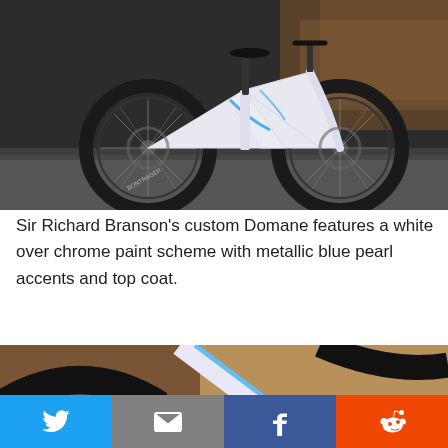[Figure (photo): A white and blue Trek Domane road bike with disc brakes leaning against a rusted industrial metal wall, shot from the drive side showing both wheels, handlebars, and frame.]
Sir Richard Branson's custom Domane features a white over chrome paint scheme with metallic blue pearl accents and top coat.
[Figure (photo): Close-up detail shot of the custom Domane bike showing the white and blue frame with black wheel rims and rust-colored background.]
[Figure (other): Social sharing bar with Twitter, Email, Facebook, and Reddit buttons]